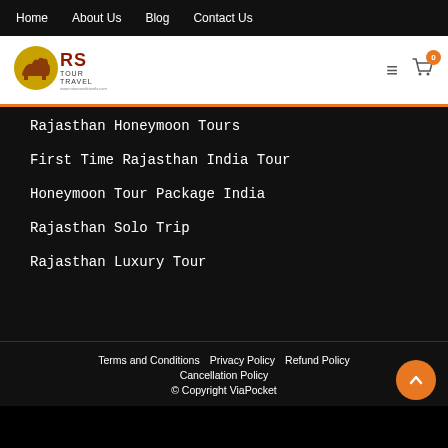Home  About Us  Blog  Contact Us
[Figure (logo): RS Tour Travel logo with camel silhouette in red/yellow/brown tones]
Rajasthan Honeymoon Tours
First Time Rajasthan India Tour
Honeymoon Tour Package India
Rajasthan Solo Trip
Rajasthan Luxury Tour
Terms and Conditions  Privacy Policy  Refund Policy  Cancellation Policy  © Copyright ViaPocket